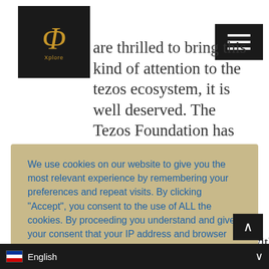[Figure (logo): Xplo cryptocurrency/blockchain logo - stylized phi symbol in gold on black square background with 'Xplore' text]
are thrilled to bring this kind of attention to the tezos ecosystem, it is well deserved. The Tezos Foundation has been a strong
We use cookies on our website to give you the most relevant experience by remembering your preferences and repeat visits. By clicking "Accept", you consent to the use of ALL the cookies. By proceeding you understand and give your consent that your IP address and browser information might be processed by the security plugins installed on this site.
Do not sell my personal information
Cookie settings
ACCEPT
Earlier this year, DOGAMÍ made headlines with the release of DOGA token and successful NFT drops. It also yielded $6 million from a number of highly reputable VC
English